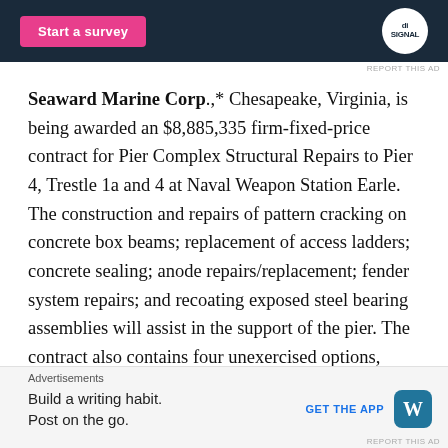[Figure (other): Advertisement banner at top with dark navy background, pink 'Start a survey' button and Signal logo circular icon]
REPORT THIS AD
Seaward Marine Corp.,* Chesapeake, Virginia, is being awarded an $8,885,335 firm-fixed-price contract for Pier Complex Structural Repairs to Pier 4, Trestle 1a and 4 at Naval Weapon Station Earle. The construction and repairs of pattern cracking on concrete box beams; replacement of access ladders; concrete sealing; anode repairs/replacement; fender system repairs; and recoating exposed steel bearing assemblies will assist in the support of the pier. The contract also contains four unexercised options, which if exercised would increase cumulative contract value to $12,946,707. Work will be performed in
[Figure (other): Advertisement: Build a writing habit. Post on the go. GET THE APP with WordPress logo]
REPORT THIS AD